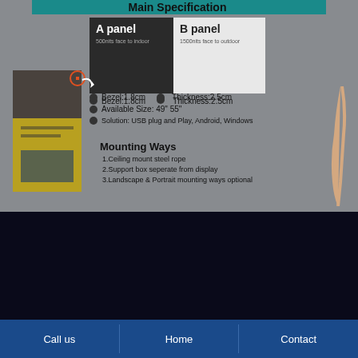Main Specification
[Figure (infographic): A panel (dark, 500nits face to indoor) and B panel (light, 1500nits face to outdoor) side-by-side panel diagram]
Bezel:1.8cm   Thickness:2.5cm
Available Size: 49" 55"
Solution: USB plug and Play, Android, Windows
Mounting Ways
1.Ceiling mount steel rope
2.Support box seperate from display
3.Landscape & Portrait mounting ways optional
Dual Side Display-Thick model
Bezel:3.33cm   Thickness:8.5cm
Available Size: 49" 55"
A panel:2500nits, B panel:500nits
Solution: USB plug and Play, Android, Windows
Call us   Home   Contact